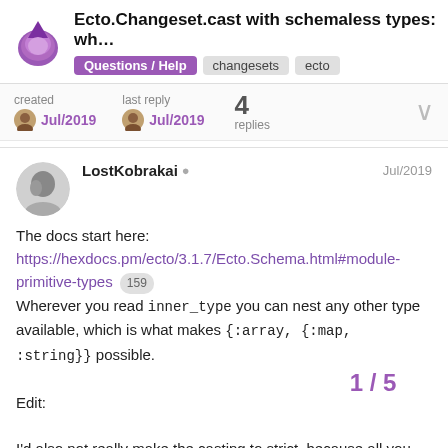Ecto.Changeset.cast with schemaless types: wh... | Questions / Help | changesets | ecto
created Jul/2019  last reply Jul/2019  4 replies
LostKobrakai  Jul/2019
The docs start here:
https://hexdocs.pm/ecto/3.1.7/Ecto.Schema.html#module-primitive-types 159
Wherever you read inner_type you can nest any other type available, which is what makes {:array, {:map, :string}} possible.

Edit:

I'd also not really make the casting to strict, because all you get as error would be is invalid. Rather m you get a known format of data and let oth